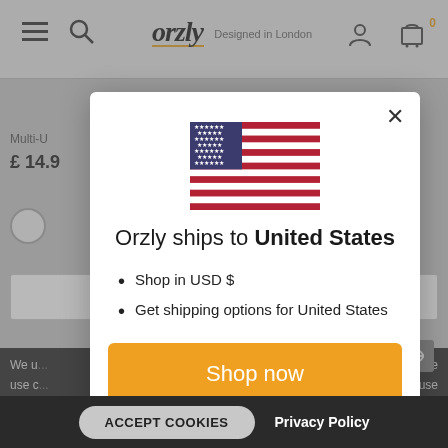[Figure (screenshot): Orzly e-commerce website header with hamburger menu, search icon, Orzly logo with 'Designed in London' tagline, user account icon, and shopping cart with 0 items badge.]
[Figure (photo): US flag SVG illustration inside modal dialog]
Orzly ships to United States
Shop in USD $
Get shipping options for United States
Shop now
Change shipping country
ACCEPT COOKIES
Privacy Policy